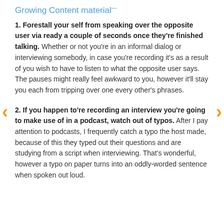Growing Content material
1. Forestall your self from speaking over the opposite user via ready a couple of seconds once they're finished talking. Whether or not you're in an informal dialog or interviewing somebody, in case you're recording it's as a result of you wish to have to listen to what the opposite user says. The pauses might really feel awkward to you, however it'll stay you each from tripping over one every other's phrases.
2. If you happen to're recording an interview you're going to make use of in a podcast, watch out of typos. After I pay attention to podcasts, I frequently catch a typo the host made, because of this they typed out their questions and are studying from a script when interviewing. That's wonderful, however a typo on paper turns into an oddly-worded sentence when spoken out loud.